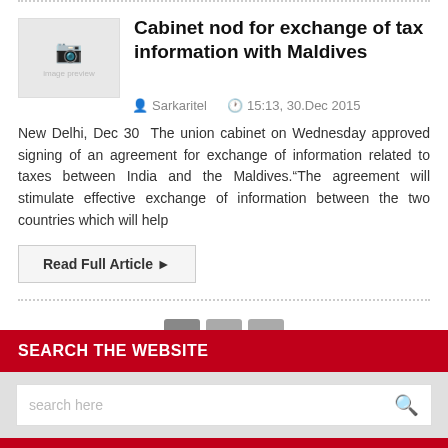Cabinet nod for exchange of tax information with Maldives
Sarkaritel   15:13, 30.Dec 2015
New Delhi, Dec 30  The union cabinet on Wednesday approved signing of an agreement for exchange of information related to taxes between India and the Maldives.“The agreement will stimulate effective exchange of information between the two countries which will help
Read Full Article ►
1  2  ►
SEARCH THE WEBSITE
search here